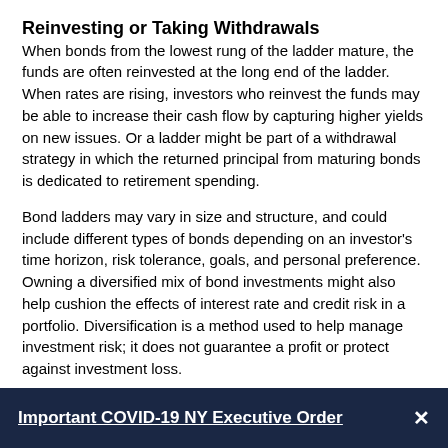Reinvesting or Taking Withdrawals
When bonds from the lowest rung of the ladder mature, the funds are often reinvested at the long end of the ladder. When rates are rising, investors who reinvest the funds may be able to increase their cash flow by capturing higher yields on new issues. Or a ladder might be part of a withdrawal strategy in which the returned principal from maturing bonds is dedicated to retirement spending.
Bond ladders may vary in size and structure, and could include different types of bonds depending on an investor's time horizon, risk tolerance, goals, and personal preference. Owning a diversified mix of bond investments might also help cushion the effects of interest rate and credit risk in a portfolio. Diversification is a method used to help manage investment risk; it does not guarantee a profit or protect against investment loss.
Important COVID-19 NY Executive Order ×